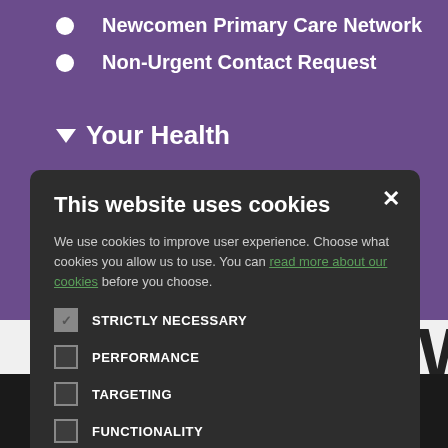Newcomen Primary Care Network
Non-Urgent Contact Request
▼ Your Health
This website uses cookies
We use cookies to improve user experience. Choose what cookies you allow us to use. You can read more about our cookies before you choose.
STRICTLY NECESSARY
PERFORMANCE
TARGETING
FUNCTIONALITY
ACCEPT ALL
DECLINE ALL
Co ... ocessing Policy | Edit |
Staff Home | Site Map | Accessibility | Site T&C's | Cookie Policy